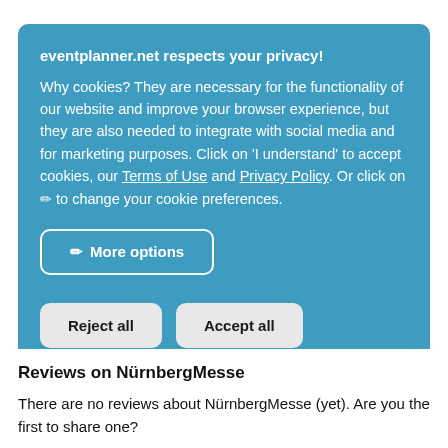eventplanner.net respects your privacy!
Why cookies? They are necessary for the functionality of our website and improve your browser experience, but they are also needed to integrate with social media and for marketing purposes. Click on 'I understand' to accept cookies, our Terms of Use and Privacy Policy. Or click on ✏ to change your cookie preferences.
✏ More options
Reject all
Accept all
Reviews on NürnbergMesse
There are no reviews about NürnbergMesse (yet). Are you the first to share one?